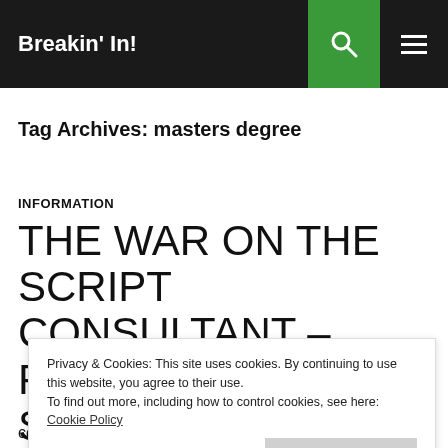Breakin' In!
Tag Archives: masters degree
INFORMATION
THE WAR ON THE SCRIPT CONSULTANT – PART DEUX: IT SOUNDS GOOD ON
Privacy & Cookies: This site uses cookies. By continuing to use this website, you agree to their use. To find out more, including how to control cookies, see here: Cookie Policy
consultant. The quick and dirty version is that script